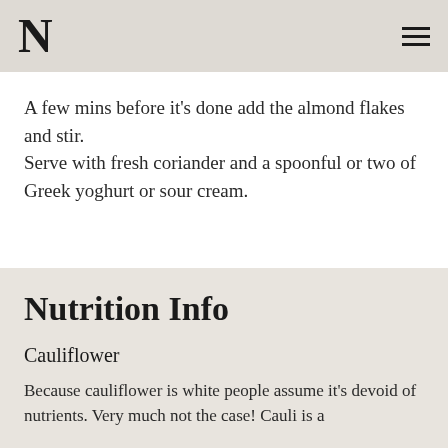N
A few mins before it's done add the almond flakes and stir.
Serve with fresh coriander and a spoonful or two of Greek yoghurt or sour cream.
Nutrition Info
Cauliflower
Because cauliflower is white people assume it's devoid of nutrients. Very much not the case! Cauli is a